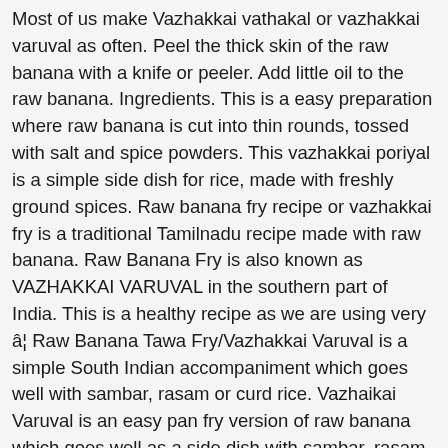Most of us make Vazhakkai vathakal or vazhakkai varuval as often. Peel the thick skin of the raw banana with a knife or peeler. Add little oil to the raw banana. Ingredients. This is a easy preparation where raw banana is cut into thin rounds, tossed with salt and spice powders. This vazhakkai poriyal is a simple side dish for rice, made with freshly ground spices. Raw banana fry recipe or vazhakkai fry is a traditional Tamilnadu recipe made with raw banana. Raw Banana Fry is also known as VAZHAKKAI VARUVAL in the southern part of India. This is a healthy recipe as we are using very â¦ Raw Banana Tawa Fry/Vazhakkai Varuval is a simple South Indian accompaniment which goes well with sambar, rasam or curd rice. Vazhaikai Varuval is an easy pan fry version of raw banana which goes well as a side dish with sambar, rasam or thayir sadam. Unknown said.... Hi Kaveri, thanks a lot for all these recepies. Place the coated pieces in hot oil, reduce the heat to medium flame, fry … Keep aside for … Raw banana fry or Vazhakkai fry is a easy and simple side dish recipe made in Tamilnadu with raw bananas.This is a crispy and delicious